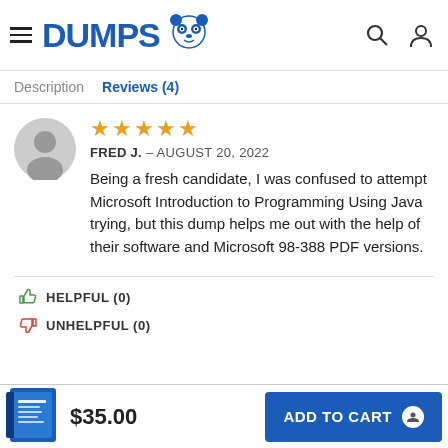DUMPS (logo with panda icon)
Description   Reviews (4)
FRED J. – AUGUST 20, 2022
Being a fresh candidate, I was confused to attempt Microsoft Introduction to Programming Using Java trying, but this dump helps me out with the help of their software and Microsoft 98-388 PDF versions.
HELPFUL (0)
UNHELPFUL (0)
$35.00   ADD TO CART